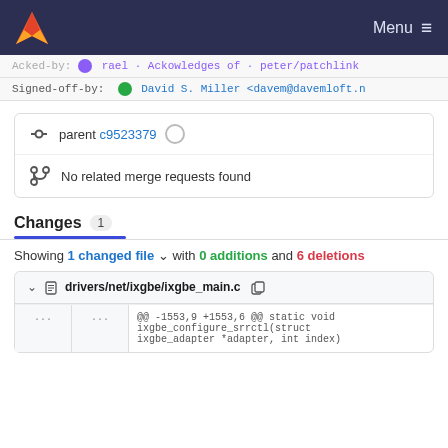Menu
Signed-off-by: David S. Miller <davem@davemloft.n
parent c9523379
No related merge requests found
Changes 1
Showing 1 changed file with 0 additions and 6 deletions
drivers/net/ixgbe/ixgbe_main.c
@@ -1553,9 +1553,6 @@ static void ixgbe_configure_srrctl(struct ixgbe_adapter *adapter, int index)